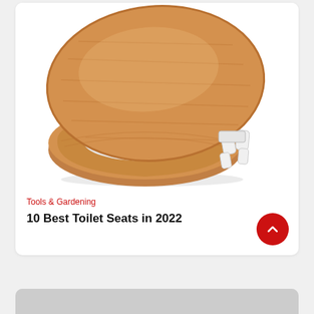[Figure (photo): A wooden toilet seat (natural oak/pine color) with white plastic hinges, lid open showing the seat beneath, photographed on white background.]
Tools & Gardening
10 Best Toilet Seats in 2022
[Figure (other): Partially visible bottom card with grey background.]